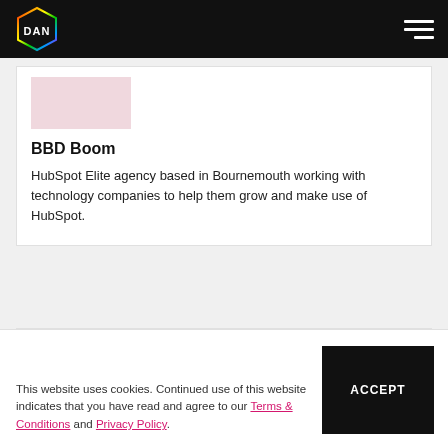DAN
[Figure (logo): DAN hexagon logo with rainbow-colored outline on black background]
BBD Boom
HubSpot Elite agency based in Bournemouth working with technology companies to help them grow and make use of HubSpot.
[Figure (photo): Pink/rose colored placeholder image for a second agency card]
This website uses cookies. Continued use of this website indicates that you have read and agree to our Terms & Conditions and Privacy Policy.